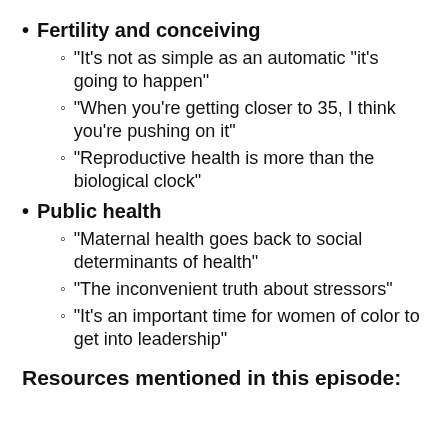Fertility and conceiving
“It’s not as simple as an automatic “it’s going to happen”
“When you’re getting closer to 35, I think you’re pushing on it”
“Reproductive health is more than the biological clock”
Public health
“Maternal health goes back to social determinants of health”
“The inconvenient truth about stressors”
“It’s an important time for women of color to get into leadership”
Resources mentioned in this episode: